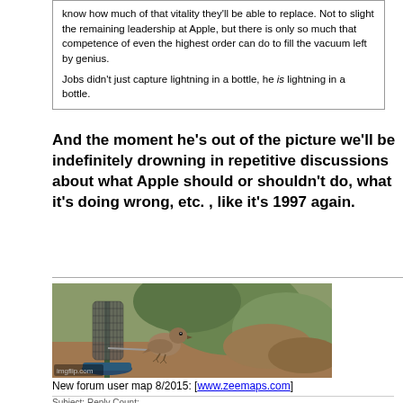know how much of that vitality they'll be able to replace. Not to slight the remaining leadership at Apple, but there is only so much that competence of even the highest order can do to fill the vacuum left by genius.

Jobs didn't just capture lightning in a bottle, he is lightning in a bottle.
And the moment he's out of the picture we'll be indefinitely drowning in repetitive discussions about what Apple should or shouldn't do, what it's doing wrong, etc. , like it's 1997 again.
[Figure (photo): A small brown bird perched on a bird feeder with mesh wire cylinder and green/teal base, with blurred foliage background. imgflip.com watermark in lower left.]
New forum user map 8/2015: [www.zeemaps.com]
Subject: Reply Count: